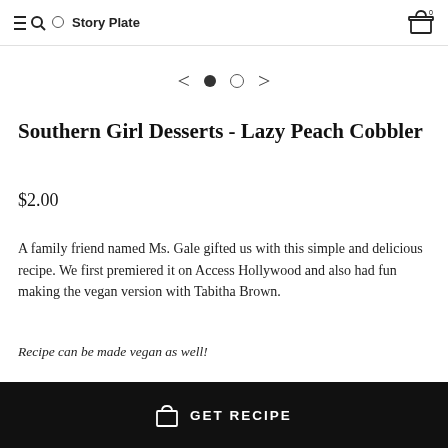≡🔍 ○Story Plate [cart icon]
[Figure (other): Carousel navigation with left arrow, filled dot, empty dot, right arrow]
Southern Girl Desserts - Lazy Peach Cobbler
$2.00
A family friend named Ms. Gale gifted us with this simple and delicious recipe. We first premiered it on Access Hollywood and also had fun making the vegan version with Tabitha Brown.
Recipe can be made vegan as well!
GET RECIPE